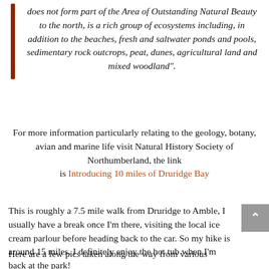does not form part of the Area of Outstanding Natural Beauty to the north, is a rich group of ecosystems including, in addition to the beaches, fresh and saltwater ponds and pools, sedimentary rock outcrops, peat, dunes, agricultural land and mixed woodland".
For more information particularly relating to the geology, botany, avian and marine life visit Natural History Society of Northumberland, the link is Introducing 10 miles of Druridge Bay
This is roughly a 7.5 mile walk from Druridge to Amble, I usually have a break once I'm there, visiting the local ice cream parlour before heading back to the car. So my hike is around 15 miles, I definitely enjoy the hot tub when I'm back at the park!
Here are a few pics taken along the way from various